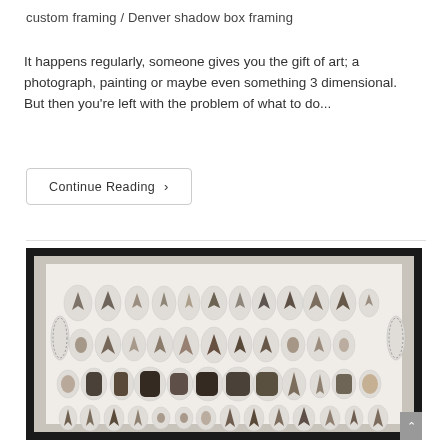custom framing / Denver shadow box framing
It happens regularly, someone gives you the gift of art; a photograph, painting or maybe even something 3 dimensional. But then you're left with the problem of what to do...
Continue Reading >
[Figure (photo): A shadow box frame with a dark border containing a white matted display of numerous arrowheads, stone tools, and two oval beaded necklaces arranged in a grid of oval cutouts across multiple rows.]